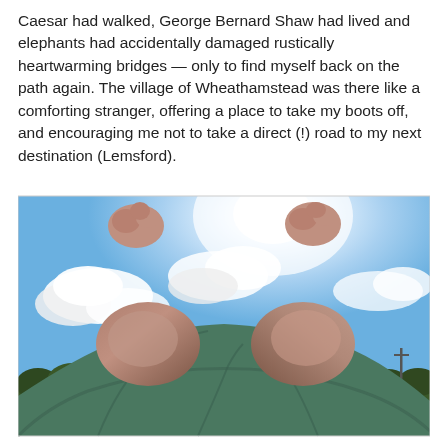Caesar had walked, George Bernard Shaw had lived and elephants had accidentally damaged rustically heartwarming bridges — only to find myself back on the path again. The village of Wheathamstead was there like a comforting stranger, offering a place to take my boots off, and encouraging me not to take a direct (!) road to my next destination (Lemsford).
[Figure (photo): A low-angle photograph taken from the ground looking upward. In the foreground are the knees of a person wearing green clothing, with their bare toes visible at the top. The background shows a bright blue sky with white clouds, intense sunlight near upper centre, and a line of dark green trees along the horizon. A green field is visible at the bottom.]